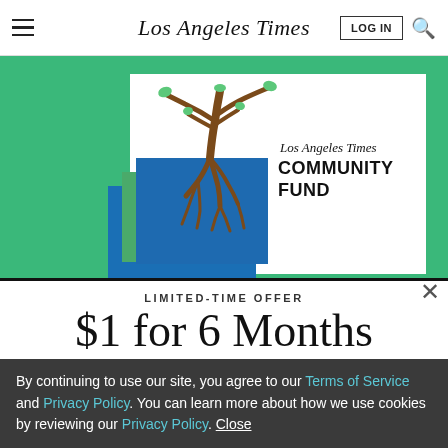Los Angeles Times
[Figure (illustration): Los Angeles Times Community Fund logo with tree and roots illustration on green and blue background]
LIMITED-TIME OFFER
$1 for 6 Months
SUBSCRIBE NOW
By continuing to use our site, you agree to our Terms of Service and Privacy Policy. You can learn more about how we use cookies by reviewing our Privacy Policy. Close